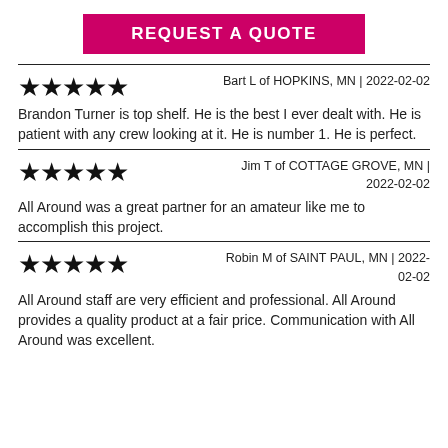REQUEST A QUOTE
Bart L of HOPKINS, MN | 2022-02-02
Brandon Turner is top shelf. He is the best I ever dealt with. He is patient with any crew looking at it. He is number 1. He is perfect.
Jim T of COTTAGE GROVE, MN | 2022-02-02
All Around was a great partner for an amateur like me to accomplish this project.
Robin M of SAINT PAUL, MN | 2022-02-02
All Around staff are very efficient and professional. All Around provides a quality product at a fair price. Communication with All Around was excellent.